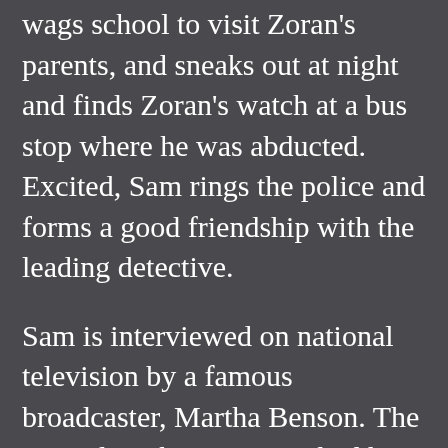wags school to visit Zoran’s parents, and sneaks out at night and finds Zoran’s watch at a bus stop where he was abducted. Excited, Sam rings the police and forms a good friendship with the leading detective.
Sam is interviewed on national television by a famous broadcaster, Martha Benson. The same day, she is approached by a weird guy on the beach. The next evening, she is also abducted and ends up in an isolated farmhouse with Zoran. He’s alive! Sam and Zoran attempt to escape by removing floorboards, but are stopped by their abductor. Will they escape? How will the